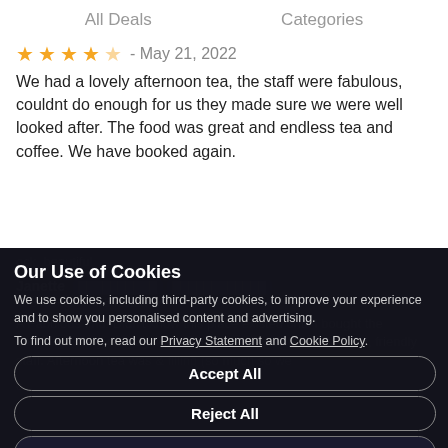All Deals   Categories
★★★★☆ - May 21, 2022
We had a lovely afternoon tea, the staff were fabulous, couldnt do enough for us they made sure we were well looked after. The food was great and endless tea and coffee. We have booked again.
Our Use of Cookies
We use cookies, including third-party cookies, to improve your experience and to show you personalised content and advertising.
To find out more, read our Privacy Statement and Cookie Policy.
Accept All
Reject All
My Options